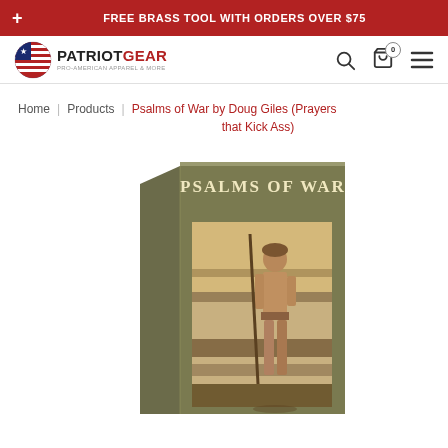+ FREE BRASS TOOL WITH ORDERS OVER $75
[Figure (logo): Patriot Gear logo with American flag circle emblem and text PATRIOTGEAR PRO-AMERICAN APPAREL & MORE]
Home | Products | Psalms of War by Doug Giles (Prayers that Kick Ass)
[Figure (photo): Book cover of Psalms of War showing title text at top and vintage sepia-toned image of a young man in a field holding a staff or rifle]